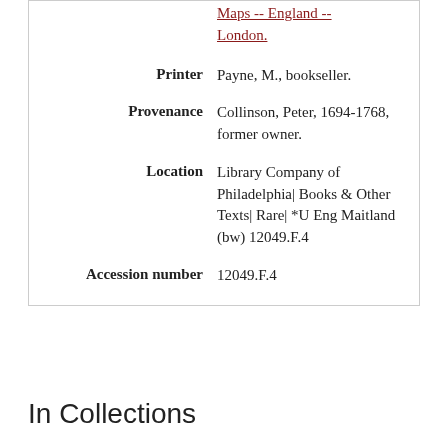Maps -- England -- London.
Printer: Payne, M., bookseller.
Provenance: Collinson, Peter, 1694-1768, former owner.
Location: Library Company of Philadelphia| Books & Other Texts| Rare| *U Eng Maitland (bw) 12049.F.4
Accession number: 12049.F.4
In Collections